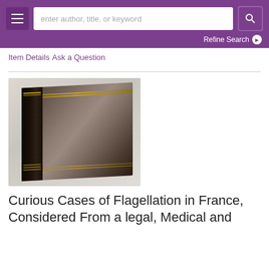enter author, title, or keyword | Refine Search
Item Details
Ask a Question
[Figure (photo): A dark leather-bound book photographed at an angle showing the spine and cover with gold decorative tooling and lines.]
Curious Cases of Flagellation in France, Considered From a legal, Medical and